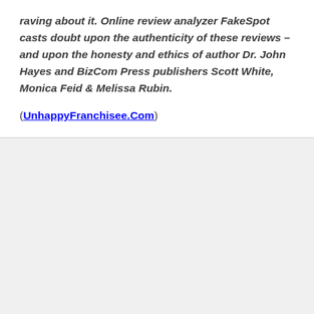raving about it. Online review analyzer FakeSpot casts doubt upon the authenticity of these reviews – and upon the honesty and ethics of author Dr. John Hayes and BizCom Press publishers Scott White, Monica Feid & Melissa Rubin.
(UnhappyFranchisee.Com)